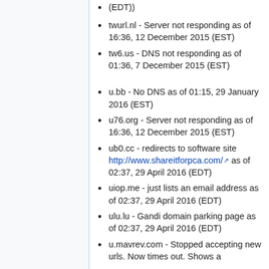(EDT))
twurl.nl - Server not responding as of 16:36, 12 December 2015 (EST)
tw6.us - DNS not responding as of 01:36, 7 December 2015 (EST)
u.bb - No DNS as of 01:15, 29 January 2016 (EST)
u76.org - Server not responding as of 16:36, 12 December 2015 (EST)
ub0.cc - redirects to software site http://www.shareitforpca.com/ as of 02:37, 29 April 2016 (EDT)
uiop.me - just lists an email address as of 02:37, 29 April 2016 (EDT)
ulu.lu - Gandi domain parking page as of 02:37, 29 April 2016 (EDT)
u.mavrev.com - Stopped accepting new urls. Now times out. Shows a